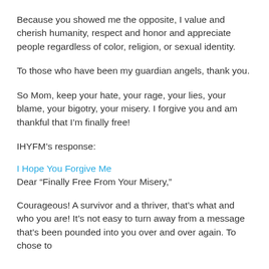Because you showed me the opposite, I value and cherish humanity, respect and honor and appreciate people regardless of color, religion, or sexual identity.
To those who have been my guardian angels, thank you.
So Mom, keep your hate, your rage, your lies, your blame, your bigotry, your misery. I forgive you and am thankful that I'm finally free!
IHYFM's response:
I Hope You Forgive Me
Dear “Finally Free From Your Misery,”
Courageous! A survivor and a thriver, that’s what and who you are! It’s not easy to turn away from a message that’s been pounded into you over and over again. To chose to